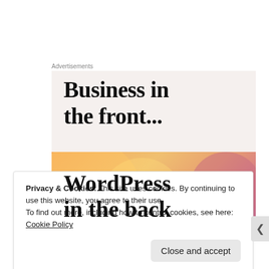Advertisements
[Figure (illustration): Advertisement banner showing 'Business in the front...' text in large serif font on light beige background, with a colorful orange-to-pink gradient band below showing 'WordPress in the back' text]
Privacy & Cookies: This site uses cookies. By continuing to use this website, you agree to their use.
To find out more, including how to control cookies, see here: Cookie Policy
Close and accept